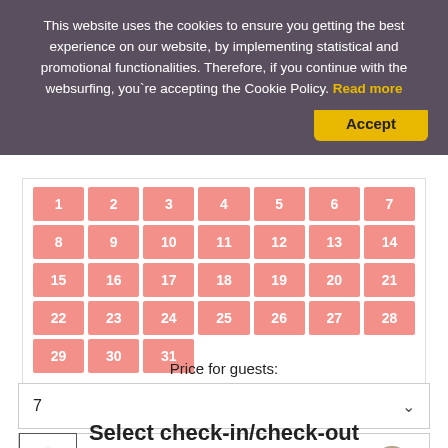This website uses the cookies to ensure you getting the best experience on our website, by implementing statistical and promotional functionalities. Therefore, if you continue with the websurfing, you`re accepting the Cookie Policy. Read more
Accept
[Figure (other): A calendar grid showing days 1-31, all highlighted in pink/salmon color, arranged in 7 columns (days of week) and 5 rows]
Price for guests:
7
PROMO CODE ES. XN1G49LF
Select check-in/check-out